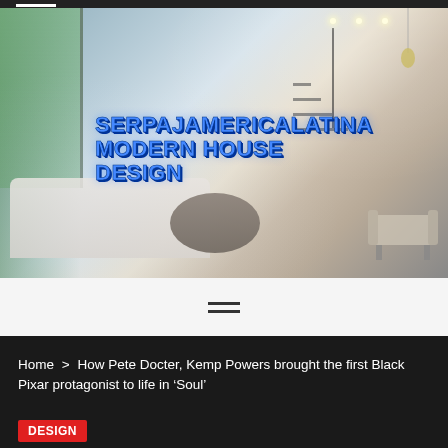[Figure (photo): Interior of a modern luxury living room with large open floor plan, light grey sofa, round wooden coffee table, staircase in background, large windows with greenery visible on the left, recessed ceiling lights, and neutral color palette.]
SERPAJAMERICALATINA MODERN HOUSE DESIGN
[Figure (infographic): Hamburger/menu icon with two horizontal lines]
Home > How Pete Docter, Kemp Powers brought the first Black Pixar protagonist to life in ‘Soul’
DESIGN